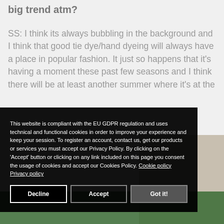big trend atm?
SS: I think its always bubbling in the background and I think that good tie dye/hand dyeing will always have a place in popular fashion. It just so happens that it's having a moment these past few seasons and I think there will be at least another summer where it's at the
[Figure (screenshot): Cookie consent overlay with GDPR compliance notice and three buttons: Decline, Accept, Got it!]
This website is compliant with the EU GDPR regulation and uses technical and functional cookies in order to improve your experience and keep your session. To register an account, contact us, get our products or services you must accept our Privacy Policy. By clicking on the 'Accept' button or clicking on any link included on this page you consent the usage of cookies and accept our Cookies Policy. Cookie policy  Privacy policy